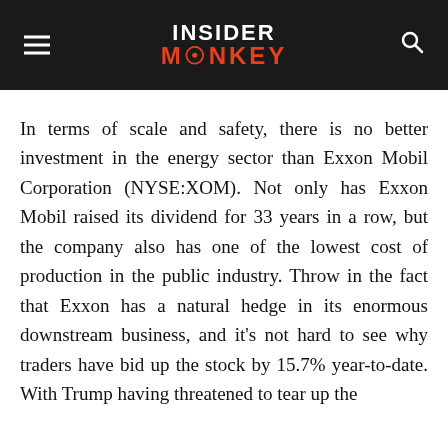INSIDER MONKEY
In terms of scale and safety, there is no better investment in the energy sector than Exxon Mobil Corporation (NYSE:XOM). Not only has Exxon Mobil raised its dividend for 33 years in a row, but the company also has one of the lowest cost of production in the public industry. Throw in the fact that Exxon has a natural hedge in its enormous downstream business, and it's not hard to see why traders have bid up the stock by 15.7% year-to-date. With Trump having threatened to tear up the